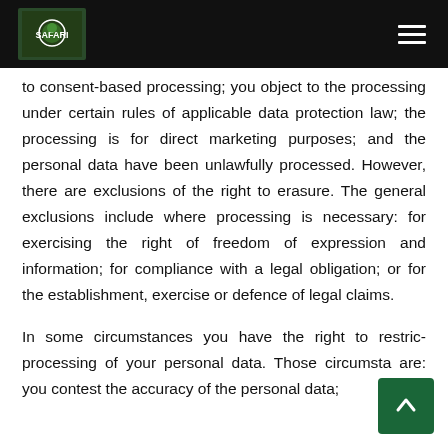[Logo] [Navigation menu icon]
to consent-based processing; you object to the processing under certain rules of applicable data protection law; the processing is for direct marketing purposes; and the personal data have been unlawfully processed. However, there are exclusions of the right to erasure. The general exclusions include where processing is necessary: for exercising the right of freedom of expression and information; for compliance with a legal obligation; or for the establishment, exercise or defence of legal claims.
In some circumstances you have the right to restrict processing of your personal data. Those circumstances are: you contest the accuracy of the personal data;